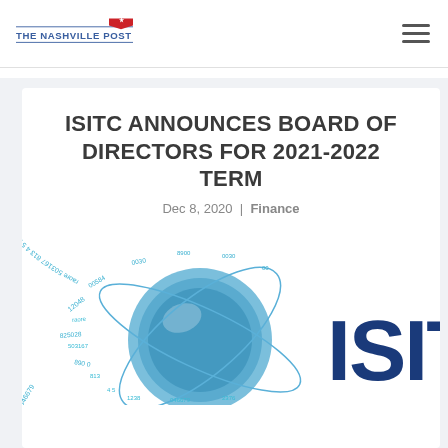THE NASHVILLE POST
ISITC ANNOUNCES BOARD OF DIRECTORS FOR 2021-2022 TERM
Dec 8, 2020 | Finance
[Figure (logo): ISITC logo with globe graphic showing orbiting rings and numeric data streams, with large blue 'ISITC' text on the right]